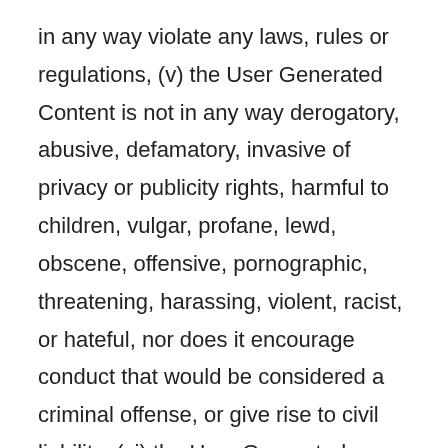in any way violate any laws, rules or regulations, (v) the User Generated Content is not in any way derogatory, abusive, defamatory, invasive of privacy or publicity rights, harmful to children, vulgar, profane, lewd, obscene, offensive, pornographic, threatening, harassing, violent, racist, or hateful, nor does it encourage conduct that would be considered a criminal offense, or give rise to civil liability; (vi) the User Generated Content does not violate or infringe upon the rights of any person or entity